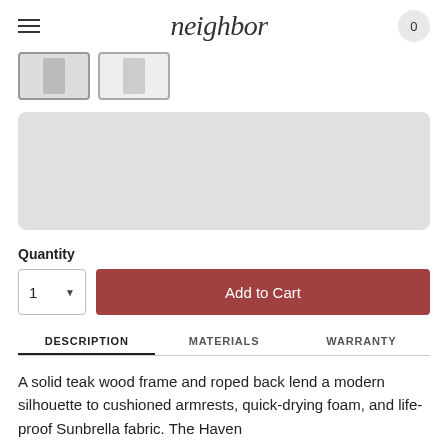neighbor
[Figure (screenshot): Two product thumbnail images side by side; first is selected/active with a border]
[Figure (photo): Large gray placeholder image area for product photo]
Quantity
1   Add to Cart
DESCRIPTION   MATERIALS   WARRANTY
A solid teak wood frame and roped back lend a modern silhouette to cushioned armrests, quick-drying foam, and life-proof Sunbrella fabric. The Haven